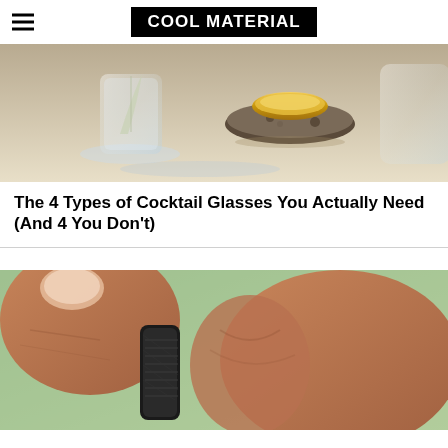COOL MATERIAL
[Figure (photo): Close-up of cocktail glasses and bar items on a reflective surface, including crystal glassware and a golden coaster]
The 4 Types of Cocktail Glasses You Actually Need (And 4 You Don't)
[Figure (photo): Close-up of a person's fingers holding or adjusting a black wristwatch or fitness tracker band]